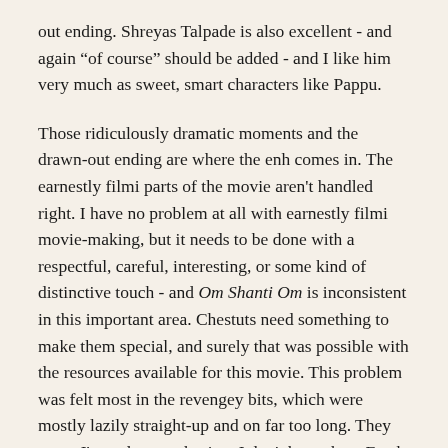out ending. Shreyas Talpade is also excellent - and again "of course" should be added - and I like him very much as sweet, smart characters like Pappu.
Those ridiculously dramatic moments and the drawn-out ending are where the enh comes in. The earnestly filmi parts of the movie aren't handled right. I have no problem at all with earnestly filmi movie-making, but it needs to be done with a respectful, careful, interesting, or some kind of distinctive touch - and Om Shanti Om is inconsistent in this important area. Chestuts need something to make them special, and surely that was possible with the resources available for this movie. This problem was felt most in the revengey bits, which were mostly lazily straight-up and on far too long. They were, I'm sad to say, boring. I don't know how Farah managed to make them boring, but she did. It's like the things that didn't quite work in Main Hoon Na have been exaggerated. There were times when I wanted to pause